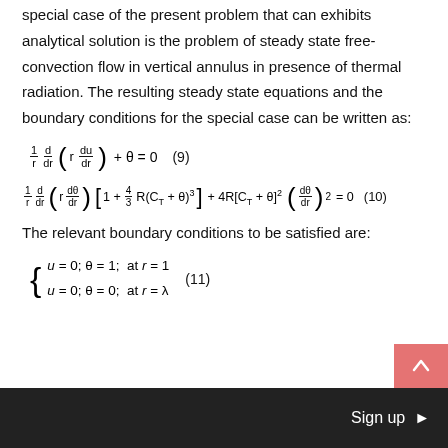special case of the present problem that can exhibits analytical solution is the problem of steady state free-convection flow in vertical annulus in presence of thermal radiation. The resulting steady state equations and the boundary conditions for the special case can be written as:
The relevant boundary conditions to be satisfied are:
Sign up